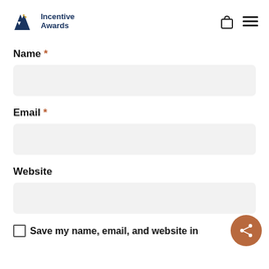Incentive Awards
Name *
Email *
Website
Save my name, email, and website in